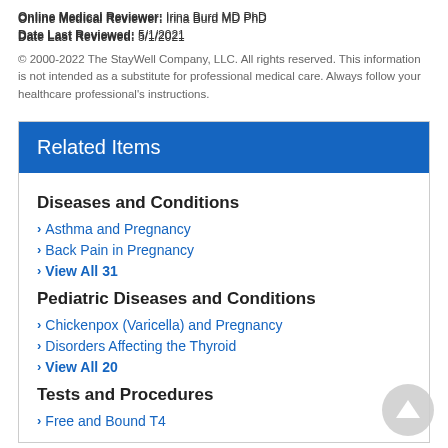Online Medical Reviewer: Irina Burd MD PhD
Date Last Reviewed: 5/1/2021
© 2000-2022 The StayWell Company, LLC. All rights reserved. This information is not intended as a substitute for professional medical care. Always follow your healthcare professional's instructions.
Related Items
Diseases and Conditions
Asthma and Pregnancy
Back Pain in Pregnancy
View All 31
Pediatric Diseases and Conditions
Chickenpox (Varicella) and Pregnancy
Disorders Affecting the Thyroid
View All 20
Tests and Procedures
Free and Bound T4